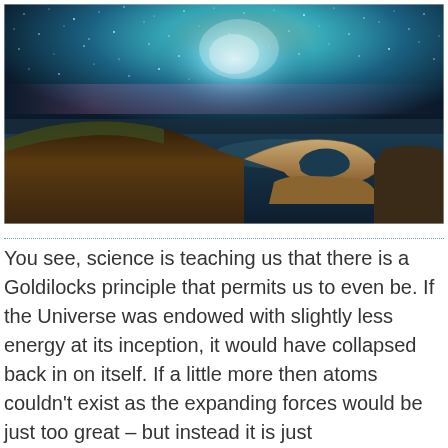[Figure (photo): Nighttime landscape photo of Durdle Door rock arch on the Jurassic Coast, England, with the Milky Way galaxy visible in the dark teal and purple starry sky above. Rocky cliffs and calm dark sea water visible.]
You see, science is teaching us that there is a Goldilocks principle that permits us to even be. If the Universe was endowed with slightly less energy at its inception, it would have collapsed back in on itself. If a little more then atoms couldn't exist as the expanding forces would be just too great – but instead it is just